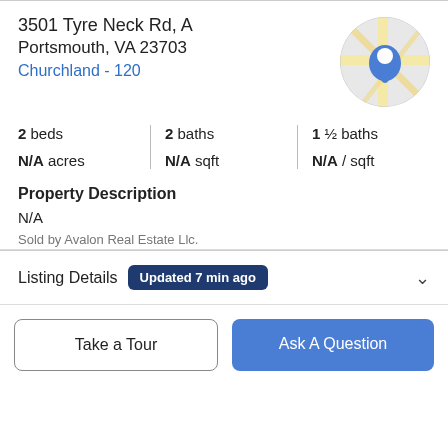3501 Tyre Neck Rd, A
Portsmouth, VA 23703
Churchland - 120
[Figure (map): Circular map thumbnail with a blue location pin marker on a street map background with beige road lines.]
2 beds | 2 baths | 1 ½ baths | N/A acres | N/A sqft | N/A / sqft
Property Description
N/A
Sold by Avalon Real Estate Llc.
Listing Details
Updated 7 min ago